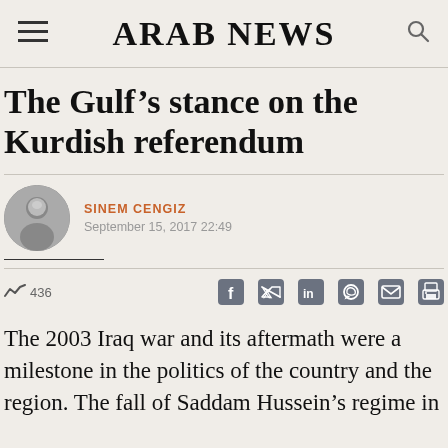ARAB NEWS
The Gulf’s stance on the Kurdish referendum
SINEM CENGIZ
September 15, 2017 22:49
436
The 2003 Iraq war and its aftermath were a milestone in the politics of the country and the region. The fall of Saddam Hussein’s regime in